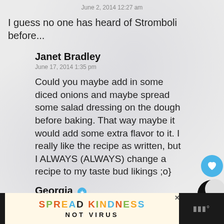June 2, 2014 12:27 am
I guess no one has heard of Stromboli before...
Janet Bradley
June 17, 2014 1:35 pm
Could you maybe add in some diced onions and maybe spread some salad dressing on the dough before baking. That way maybe it would add some extra flavor to it. I really like the recipe as written, but I ALWAYS (ALWAYS) change a recipe to my taste bud likings ;o}
Georgia
[Figure (screenshot): SPREAD KINDNESS NOT VIRUS advertisement banner at the bottom of the page with colorful letters on a light yellow background, flanked by black sections on the sides]